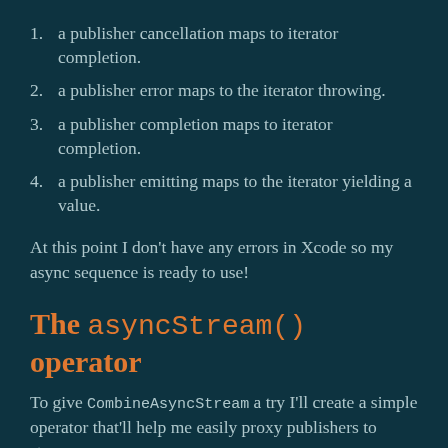1. a publisher cancellation maps to iterator completion.
2. a publisher error maps to the iterator throwing.
3. a publisher completion maps to iterator completion.
4. a publisher emitting maps to the iterator yielding a value.
At this point I don't have any errors in Xcode so my async sequence is ready to use!
The asyncStream() operator
To give CombineAsyncStream a try I'll create a simple operator that'll help me easily proxy publishers to streams: